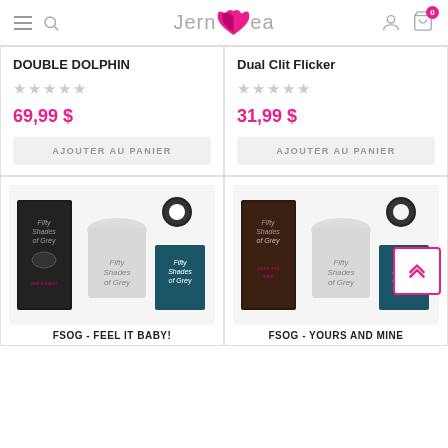Jernea - header with hamburger menu, search, logo, user icon, cart (0)
DOUBLE DOLPHIN
69,99 $
AJOUTER AU PANIER
Dual Clit Flicker
31,99 $
AJOUTER AU PANIER
[Figure (photo): Fifty Shades of Grey product set: box, white drawstring bag, vibrating ring, keychain tag]
FSOG - FEEL IT BABY!
[Figure (photo): Fifty Shades of Grey product set: box, white drawstring bag, cock ring]
FSOG - YOURS AND MINE